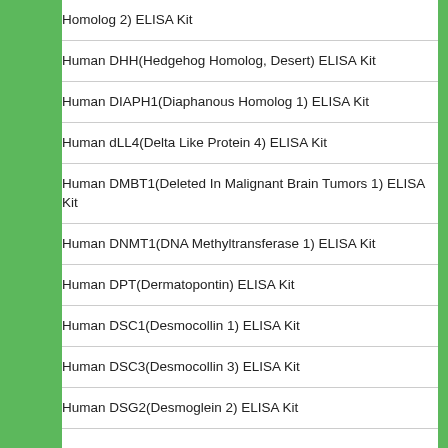Homolog 2) ELISA Kit
Human DHH(Hedgehog Homolog, Desert) ELISA Kit
Human DIAPH1(Diaphanous Homolog 1) ELISA Kit
Human dLL4(Delta Like Protein 4) ELISA Kit
Human DMBT1(Deleted In Malignant Brain Tumors 1) ELISA Kit
Human DNMT1(DNA Methyltransferase 1) ELISA Kit
Human DPT(Dermatopontin) ELISA Kit
Human DSC1(Desmocollin 1) ELISA Kit
Human DSC3(Desmocollin 3) ELISA Kit
Human DSG2(Desmoglein 2) ELISA Kit